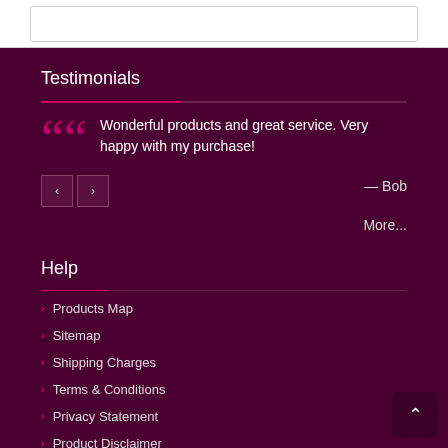Testimonials
Wonderful products and great service. Very happy with my purchase!
— Bob
More...
Help
Products Map
Sitemap
Shipping Charges
Terms & Conditions
Privacy Statement
Product Disclaimer